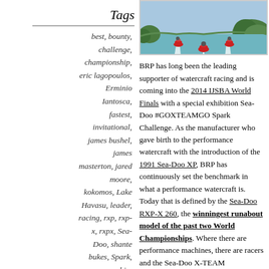Tags
best, bounty, challenge, championship, eric lagopoulos, Erminio Iantosca, fastest, invitational, james bushel, james masterton, jared moore, kokomos, Lake Havasu, leader, racing, rxp, rxp-x, rxpx, Sea-Doo, shante bukes, Spark, sponsorship,
[Figure (photo): Aerial photo of three Sea-Doo personal watercraft racing in formation on turquoise water near a green tree-lined shore, creating white wake trails.]
BRP has long been the leading supporter of watercraft racing and is coming into the 2014 IJSBA World Finals with a special exhibition Sea-Doo #GOXTEAMGO Spark Challenge. As the manufacturer who gave birth to the performance watercraft with the introduction of the 1991 Sea-Doo XP, BRP has continuously set the benchmark in what a performance watercraft is. Today that is defined by the Sea-Doo RXP-X 260, the winningest runabout model of the past two World Championships. Where there are performance machines, there are racers and the Sea-Doo X-TEAM